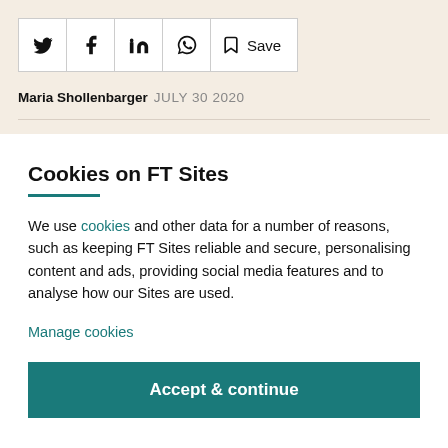[Figure (other): Social sharing toolbar with Twitter, Facebook, LinkedIn, WhatsApp, and Save bookmark icons]
Maria Shollenbarger  JULY 30 2020
Cookies on FT Sites
We use cookies and other data for a number of reasons, such as keeping FT Sites reliable and secure, personalising content and ads, providing social media features and to analyse how our Sites are used.
Manage cookies
Accept & continue